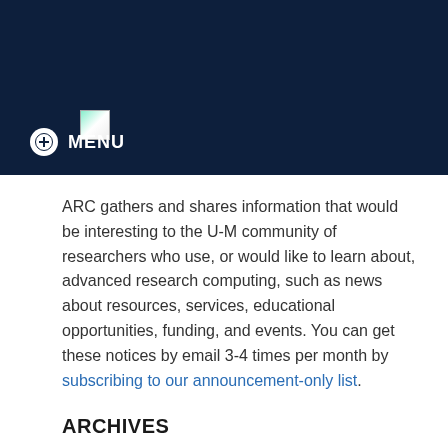[Figure (logo): Broken image placeholder for logo in dark navy header bar]
+ MENU
ARC gathers and shares information that would be interesting to the U-M community of researchers who use, or would like to learn about, advanced research computing, such as news about resources, services, educational opportunities, funding, and events. You can get these notices by email 3-4 times per month by subscribing to our announcement-only list.
ARCHIVES